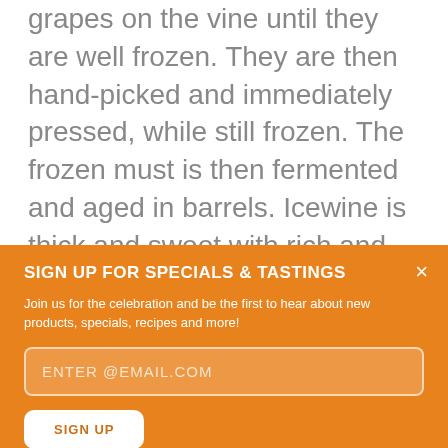A special wine produced by leaving the grapes on the vine until they are well frozen. They are then hand-picked and immediately pressed, while still frozen. The frozen must is then fermented and aged in barrels. Icewine is thick and sweet with rich and complex flavors.
SIGN UP FOR SPECIALS & TASTINGS
Join us for the celebration and be the first to hear about new products, specials, recipes and more!